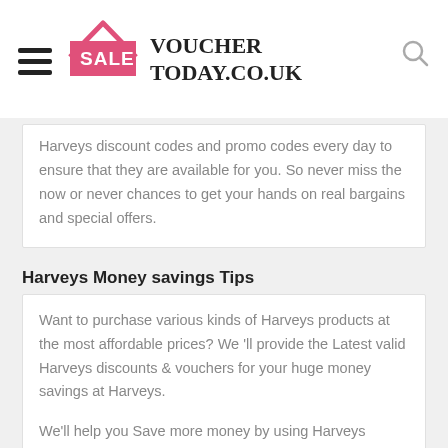VOUCHER TODAY.CO.UK
Harveys discount codes and promo codes every day to ensure that they are available for you. So never miss the now or never chances to get your hands on real bargains and special offers.
Harveys Money savings Tips
Want to purchase various kinds of Harveys products at the most affordable prices? We 'll provide the Latest valid Harveys discounts & vouchers for your huge money savings at Harveys.
We'll help you Save more money by using Harveys promo code & deals. Daily update & check for Harveys discount code & voucher code are guaranteed by us. You can enjoy immediate savings for the products you need with 100% valid Harveys promo code.